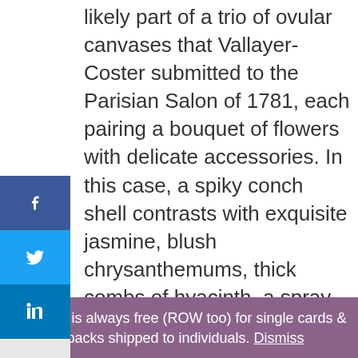likely part of a trio of ovular canvases that Vallayer-Coster submitted to the Parisian Salon of 1781, each pairing a bouquet of flowers with delicate accessories. In this case, a spiky conch shell contrasts with exquisite jasmine, blush chrysanthemums, thick combs of hyacinth, a spray of honeysuckle, and a bulbous striped tulip, arranged in blue porcelain vase with gilt-bronze mounts.
[Figure (photo): Partial top view of a dark circular/oval decorative object or painting, appearing dark brown with subtle markings visible]
Shipping is always free (ROW too) for single cards & 3-packs shipped to individuals. Dismiss